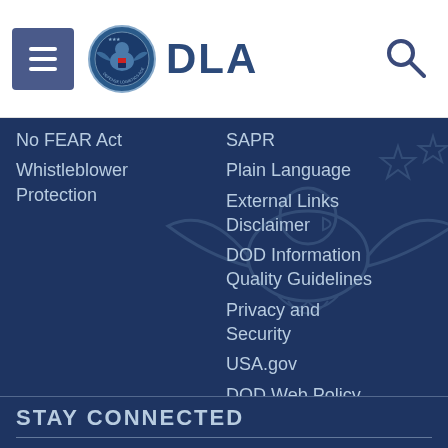DLA
No FEAR Act
Whistleblower Protection
SAPR
Plain Language
External Links Disclaimer
DOD Information Quality Guidelines
Privacy and Security
USA.gov
DOD Web Policy
DOD Open Government
[Figure (illustration): Eagle watermark/background illustration in dark blue]
STAY CONNECTED